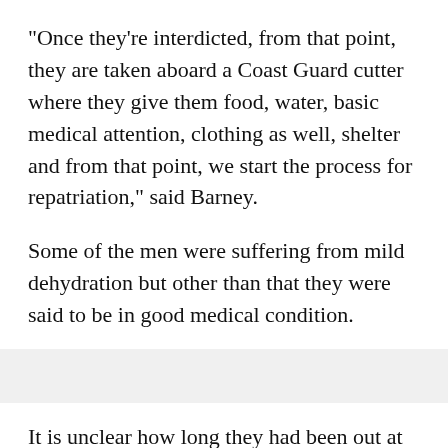"Once they're interdicted, from that point, they are taken aboard a Coast Guard cutter where they give them food, water, basic medical attention, clothing as well, shelter and from that point, we start the process for repatriation," said Barney.
Some of the men were suffering from mild dehydration but other than that they were said to be in good medical condition.
It is unclear how long they had been out at sea.
U.S. Customs and Immigration will screen the migrants and determine their status but usually Cuban migrants caught at sea are returned home